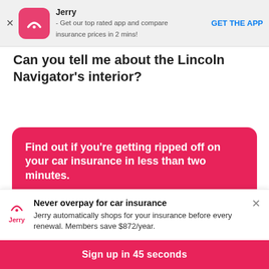[Figure (screenshot): Top app banner for Jerry insurance app with icon, description text, and GET THE APP button]
Can you tell me about the Lincoln Navigator's interior?
[Figure (infographic): Pink promotional card: Find out if you're getting ripped off on your car insurance in less than two minutes. No spam · No long forms · No fees]
[Figure (infographic): Bottom popup: Jerry logo, Never overpay for car insurance headline, body text about Jerry automatically shopping for insurance, Sign up in 45 seconds button]